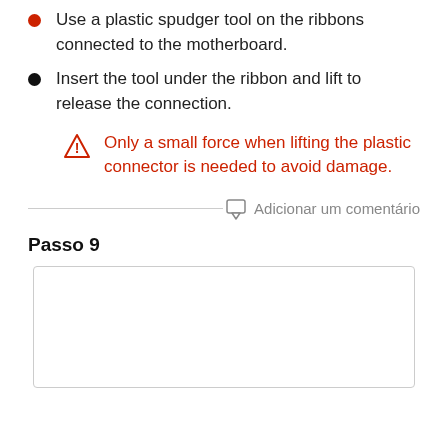Use a plastic spudger tool on the ribbons connected to the motherboard.
Insert the tool under the ribbon and lift to release the connection.
Only a small force when lifting the plastic connector is needed to avoid damage.
Adicionar um comentário
Passo 9
[Figure (photo): Empty image placeholder box for Passo 9]